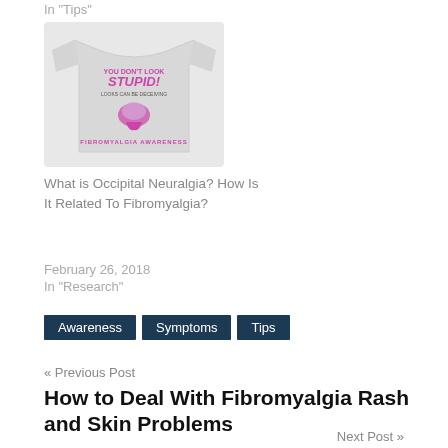In "Tips"
[Figure (photo): A grey t-shirt with fibromyalgia awareness text and graphic: 'You Don't Look STUPID! Looks Can Be Deceiving' with a brain graphic and 'FIBROMYALGIA AWARENESS' text in pink/purple.]
What is Occipital Neuralgia? How Is It Related To Fibromyalgia?
February 26, 2018
In "Research"
Awareness
Symptoms
Tips
« Previous Post
How to Deal With Fibromyalgia Rash and Skin Problems
Next Post »